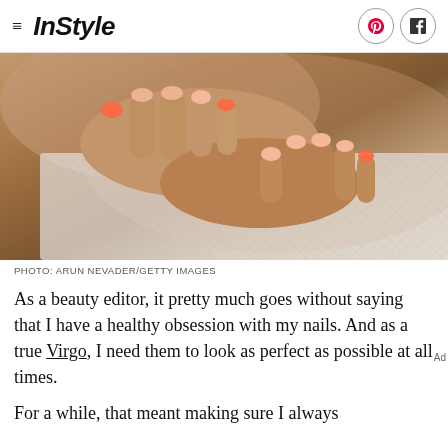InStyle
[Figure (photo): Close-up photo of hands with manicured nails, some painted coral/orange, resting on a white mesh/net fabric top]
PHOTO: ARUN NEVADER/GETTY IMAGES
As a beauty editor, it pretty much goes without saying that I have a healthy obsession with my nails. And as a true Virgo, I need them to look as perfect as possible at all times.
For a while, that meant making sure I always